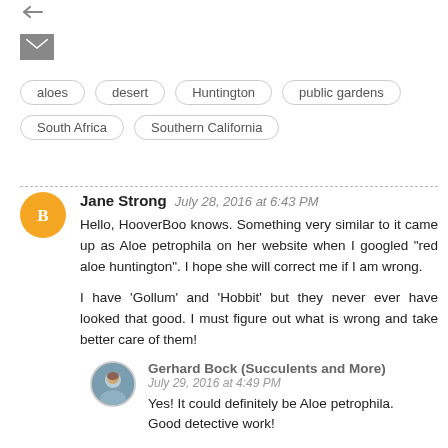[Figure (other): Arrow icon pointing left/back]
[Figure (other): Mail/envelope icon (gray)]
aloes
desert
Huntington
public gardens
South Africa
Southern California
Jane Strong  July 28, 2016 at 6:43 PM
Hello, HooverBoo knows. Something very similar to it came up as Aloe petrophila on her website when I googled "red aloe huntington". I hope she will correct me if I am wrong.

I have 'Gollum' and 'Hobbit' but they never ever have looked that good. I must figure out what is wrong and take better care of them!
Gerhard Bock (Succulents and More)
July 29, 2016 at 4:49 PM
Yes! It could definitely be Aloe petrophila. Good detective work!